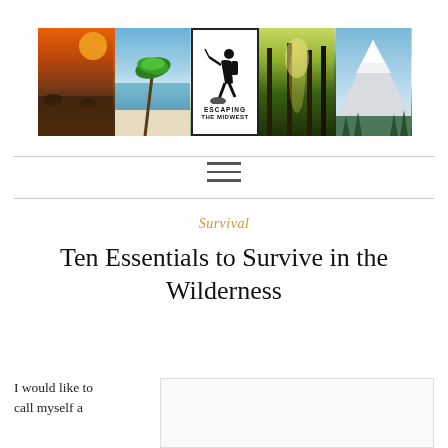[Figure (photo): Website header banner for 'Escaping the Midwest' blog showing five landscape photos: desert with orange sky, tropical beach with palm trees, central logo with silhouette hiker, sunlit forest, and snow-capped mountain. Center logo has black border with hiker silhouette and text 'ESCAPING THE MIDWEST'.]
[Figure (infographic): Hamburger menu icon (three horizontal lines) centered between two horizontal divider lines]
Survival
Ten Essentials to Survive in the Wilderness
I would like to call myself a